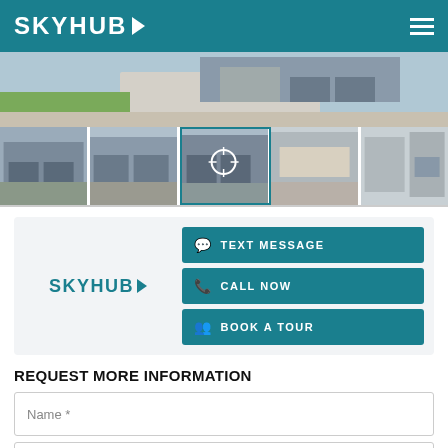SKYHUB
[Figure (photo): Aerial/street view photo of a residential home with driveway and lawn]
[Figure (photo): Thumbnail strip showing 5 photos of a residential property exterior and interior]
[Figure (logo): SKYHUB logo in teal color inside contact card]
TEXT MESSAGE
CALL NOW
BOOK A TOUR
REQUEST MORE INFORMATION
Name *
Phone *
Email *